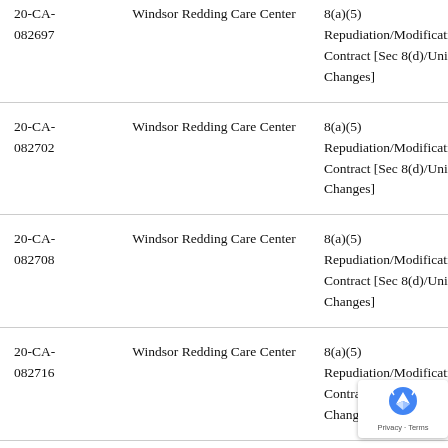| Case Number | Respondent | Allegation |
| --- | --- | --- |
| 20-CA-082697 | Windsor Redding Care Center | 8(a)(5) Repudiation/Modification of Contract [Sec 8(d)/Unilateral Changes] |
| 20-CA-082702 | Windsor Redding Care Center | 8(a)(5) Repudiation/Modification of Contract [Sec 8(d)/Unilateral Changes] |
| 20-CA-082708 | Windsor Redding Care Center | 8(a)(5) Repudiation/Modification of Contract [Sec 8(d)/Unilateral Changes] |
| 20-CA-082716 | Windsor Redding Care Center | 8(a)(5) Repudiation/Modification of Contract [Sec 8(d)/Unilateral Changes] |